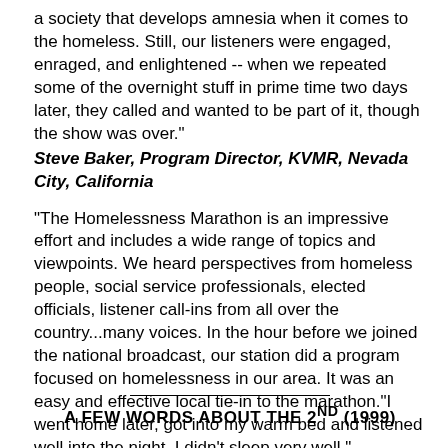a society that develops amnesia when it comes to the homeless. Still, our listeners were engaged, enraged, and enlightened -- when we repeated some of the overnight stuff in prime time two days later, they called and wanted to be part of it, though the show was over."
Steve Baker, Program Director, KVMR, Nevada City, California
"The Homelessness Marathon is an impressive effort and includes a wide range of topics and viewpoints. We heard perspectives from homeless people, social service professionals, elected officials, listener call-ins from all over the country...many voices. In the hour before we joined the national broadcast, our station did a program focused on homelessness in our area. It was an easy and effective local tie-in to the marathon."I went home later, got into my warm bed and listened well into the night. I didn't sleep very well."
Sam Fuqua, News Director, KGNU, Boulder, Colorado
A FEW WORDS ABOUT THE 2nd (1999)